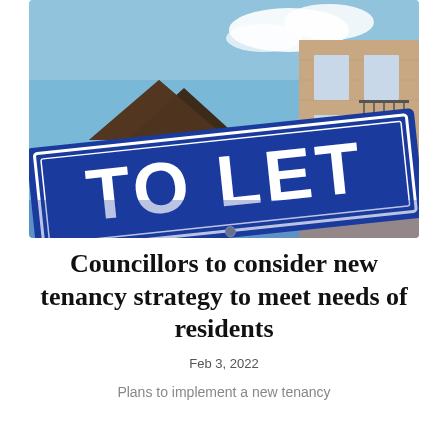[Figure (photo): Close-up photograph of a blue 'TO LET' sign in large white lettering with a white border, shot from a low angle against a blue sky with white clouds and brick residential buildings in the background.]
Councillors to consider new tenancy strategy to meet needs of residents
Feb 3, 2022
Plans to implement a new tenancy